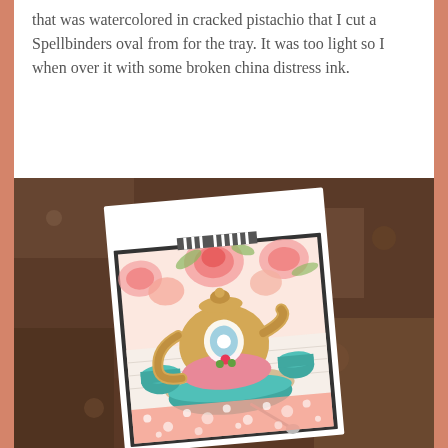that was watercolored in cracked pistachio that I cut a Spellbinders oval from for the tray. It was too light so I when over it with some broken china distress ink.
[Figure (photo): A handmade craft card featuring a decorated teapot with floral background (pink roses), teal teacups, and lace trim, displayed on a dark stone/granite surface.]